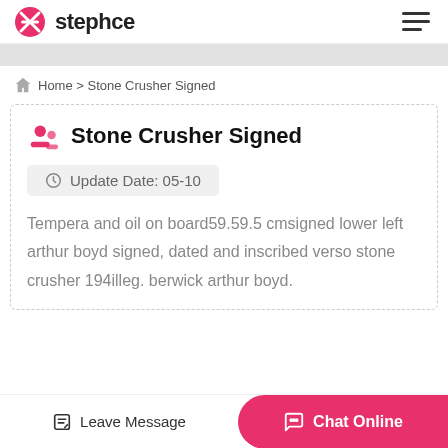stephce
Home > Stone Crusher Signed
Stone Crusher Signed
Update Date: 05-10
Tempera and oil on board59.59.5 cmsigned lower left arthur boyd signed, dated and inscribed verso stone crusher 194illeg. berwick arthur boyd.
Leave Message   Chat Online